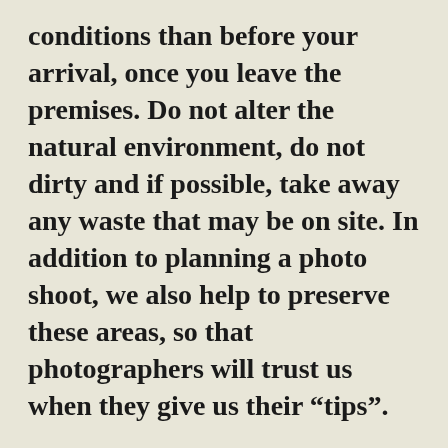conditions than before your arrival, once you leave the premises. Do not alter the natural environment, do not dirty and if possible, take away any waste that may be on site. In addition to planning a photo shoot, we also help to preserve these areas, so that photographers will trust us when they give us their “tips”.
Browse sites specializing in photography
Exploring new places, talking to people in unfamiliar places or